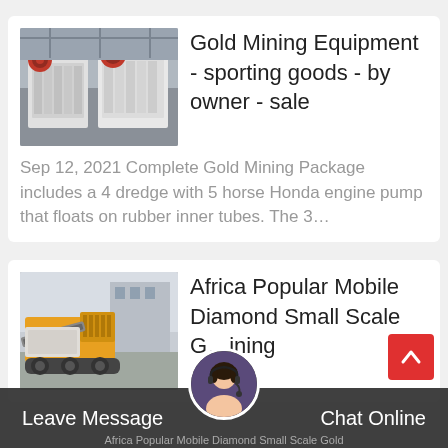[Figure (photo): Industrial mining equipment (jaw crushers) in a factory setting — white and red heavy machinery]
Gold Mining Equipment - sporting goods - by owner - sale
Sep 12, 2021 Complete Gold Mining Package includes a 4 dredge with 5 horse Honda engine pump that floats on rubber inner tubes. The 3…
[Figure (photo): Yellow mobile crushing/mining equipment on tracks outdoors]
Africa Popular Mobile Diamond Small Scale Gold Mining
Africa Popular Mobile Diamond Small Scale Gold